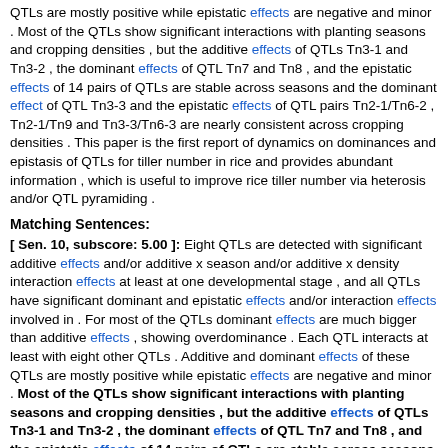QTLs are mostly positive while epistatic effects are negative and minor . Most of the QTLs show significant interactions with planting seasons and cropping densities , but the additive effects of QTLs Tn3-1 and Tn3-2 , the dominant effects of QTL Tn7 and Tn8 , and the epistatic effects of 14 pairs of QTLs are stable across seasons and the dominant effect of QTL Tn3-3 and the epistatic effects of QTL pairs Tn2-1/Tn6-2 , Tn2-1/Tn9 and Tn3-3/Tn6-3 are nearly consistent across cropping densities . This paper is the first report of dynamics on dominances and epistasis of QTLs for tiller number in rice and provides abundant information , which is useful to improve rice tiller number via heterosis and/or QTL pyramiding .
Matching Sentences:
[ Sen. 10, subscore: 5.00 ]: Eight QTLs are detected with significant additive effects and/or additive x season and/or additive x density interaction effects at least at one developmental stage , and all QTLs have significant dominant and epistatic effects and/or interaction effects involved in . For most of the QTLs dominant effects are much bigger than additive effects , showing overdominance . Each QTL interacts at least with eight other QTLs . Additive and dominant effects of these QTLs are mostly positive while epistatic effects are negative and minor . Most of the QTLs show significant interactions with planting seasons and cropping densities , but the additive effects of QTLs Tn3-1 and Tn3-2 , the dominant effects of QTL Tn7 and Tn8 , and the epistatic effects of 14 pairs of QTLs are stable across seasons and the dominant effect of QTL Tn3-3 and the epistatic effects of QTL pairs Tn2-1/Tn6-2 , Tn2-1/Tn9 and Tn3-3/Tn6-3 are nearly consistent across cropping densities . This paper is the first report of dynamics on dominances and epistasis of QTLs for tiller number in rice and provides abundant information , which is useful to improve rice tiller number via heterosis and/or QTL pyramiding .
[ Sen. 6, subscore: 4.00 ]: These SSSLs and their recipient , Hua-Jing-